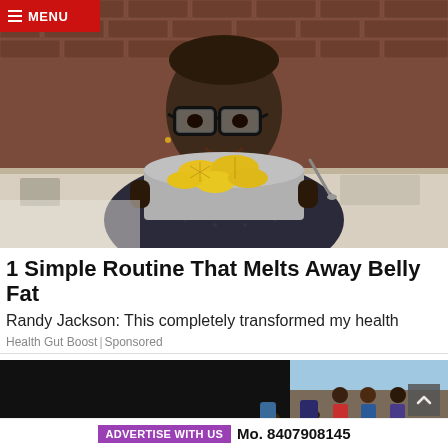[Figure (photo): Man wearing glasses holding a pot of lemon slices in a kitchen setting, brick wall background]
1 Simple Routine That Melts Away Belly Fat
Randy Jackson: This completely transformed my health
Health Gut Boost | Sponsored
[Figure (photo): Group of people bending down outdoors, black background on left side]
ADVERTISE WITH US   Mo. 8407908145